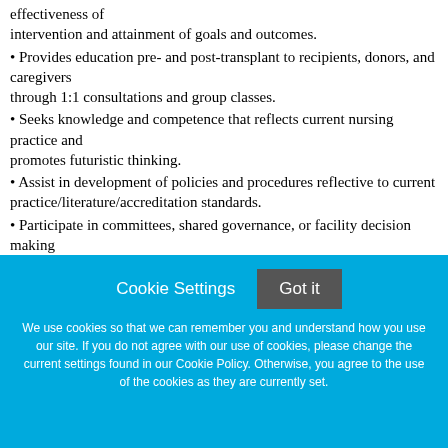effectiveness of intervention and attainment of goals and outcomes.
• Provides education pre- and post-transplant to recipients, donors, and caregivers through 1:1 consultations and group classes.
• Seeks knowledge and competence that reflects current nursing practice and promotes futuristic thinking.
• Assist in development of policies and procedures reflective to current practice/literature/accreditation standards.
• Participate in committees, shared governance, or facility decision making activities, developing, and nurturing research to positively affect clinical outcomes
Cookie Settings  Got it
We use cookies so that we can remember you and understand how you use our site. If you do not agree with our use of cookies, please change the current settings found in our Cookie Policy. Otherwise, you agree to the use of the cookies as they are currently set.